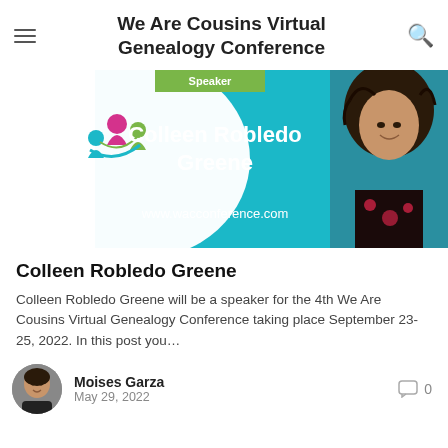We Are Cousins Virtual Genealogy Conference
[Figure (photo): Promotional banner for We Are Cousins Virtual Genealogy Conference featuring speaker Colleen Robledo Greene on a teal background with the conference logo and website www.wacconference.com]
Colleen Robledo Greene
Colleen Robledo Greene will be a speaker for the 4th We Are Cousins Virtual Genealogy Conference taking place September 23-25, 2022. In this post you...
Moises Garza
May 29, 2022
0